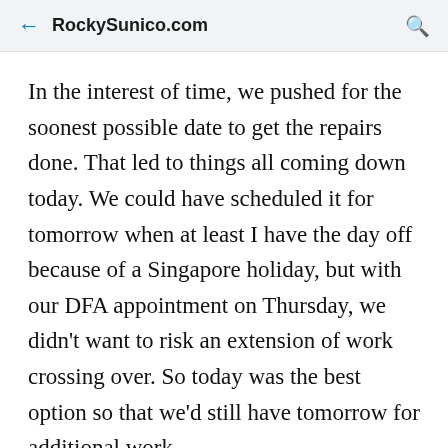← RockySunico.com 🔍
In the interest of time, we pushed for the soonest possible date to get the repairs done. That led to things all coming down today. We could have scheduled it for tomorrow when at least I have the day off because of a Singapore holiday, but with our DFA appointment on Thursday, we didn't want to risk an extension of work crossing over. So today was the best option so that we'd still have tomorrow for additional work.